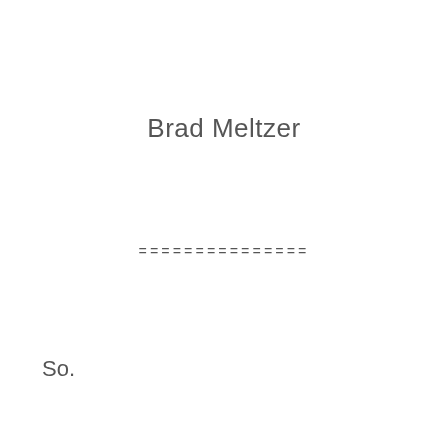Brad Meltzer
===============
So.